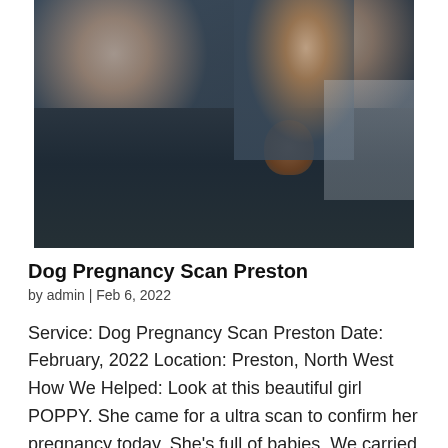[Figure (photo): Photo of two people in dark puffer jackets holding a small brown dog, taken as a selfie]
Dog Pregnancy Scan Preston
by admin | Feb 6, 2022
Service: Dog Pregnancy Scan Preston Date: February, 2022 Location: Preston, North West How We Helped: Look at this beautiful girl POPPY. She came for a ultra scan to confirm her pregnancy today. She's full of babies. We carried